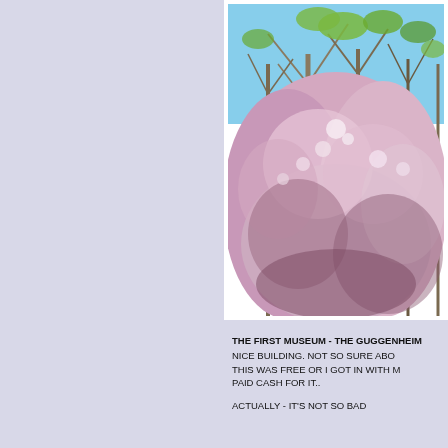[Figure (photo): Outdoor photo of flowering blossoms (likely magnolia or cherry blossom) in full bloom with pink/white flowers, bare and leafing trees behind them against a blue sky. Photo has a white border/frame.]
THE FIRST MUSEUM - THE GUGGENHEIM NICE BUILDING. NOT SO SURE ABO THIS WAS FREE OR I GOT IN WITH M PAID CASH FOR IT..
ACTUALLY - IT'S NOT SO BAD